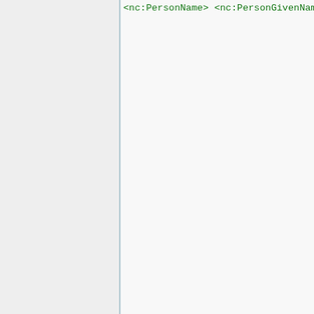XML code snippet showing NLETS vehicle registration response data with elements: nc:PersonName, nc:PersonGivenName>JOHN, nc:PersonSurName, /nc:PersonName, /nc2:Person, /nc2:RegistrationHolder, nc:ConveyanceRegistration, nc:IdentificationID>1234567890, /nc:ConveyanceRegistration, /nc:ConveyanceRegistration, nc:Vehicle, nc:ItemModelYearDate, nc:VehicleIdentification, nc:IdentificationID>16VDX16XX, /nc:VehicleIdentification, nc:VehicleMakeCode>DAVIDSON, /nc:Vehicle, /nrm2:IndividualMatch, /nrm2:RegistrationMatch, /n2:NLETSResponseData, /n2:NLETS